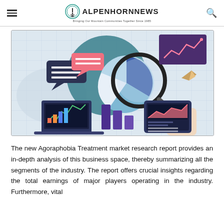ALPENHORNNEWS — Bringing Our Mountain Communities Together Since 1985
[Figure (illustration): Market research illustration showing a hand holding a magnifying glass over a pie chart, bar charts, a laptop with analytics, a line chart in a purple box at top right, speech bubbles with horizontal lines, a paper plane, and an area chart on a tablet/phone device. Blue, purple, pink, and teal color scheme on a light blue grid background.]
The new Agoraphobia Treatment market research report provides an in-depth analysis of this business space, thereby summarizing all the segments of the industry. The report offers crucial insights regarding the total earnings of major players operating in the industry. Furthermore, vital